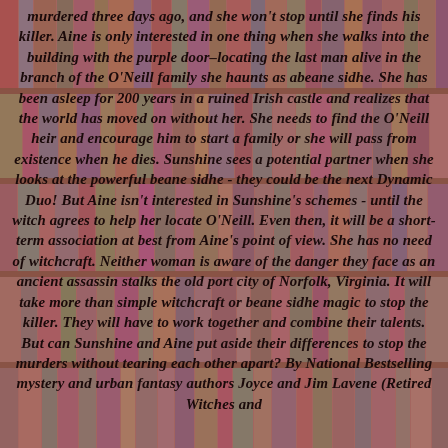murdered three days ago, and she won't stop until she finds his killer. Aine is only interested in one thing when she walks into the building with the purple door–locating the last man alive in the branch of the O'Neill family she haunts as abeane sidhe. She has been asleep for 200 years in a ruined Irish castle and realizes that the world has moved on without her. She needs to find the O'Neill heir and encourage him to start a family or she will pass from existence when he dies. Sunshine sees a potential partner when she looks at the powerful beane sidhe - they could be the next Dynamic Duo! But Aine isn't interested in Sunshine's schemes - until the witch agrees to help her locate O'Neill. Even then, it will be a short-term association at best from Aine's point of view. She has no need of witchcraft. Neither woman is aware of the danger they face as an ancient assassin stalks the old port city of Norfolk, Virginia. It will take more than simple witchcraft or beane sidhe magic to stop the killer. They will have to work together and combine their talents. But can Sunshine and Aine put aside their differences to stop the murders without tearing each other apart? By National Bestselling mystery and urban fantasy authors Joyce and Jim Lavene (Retired Witches and